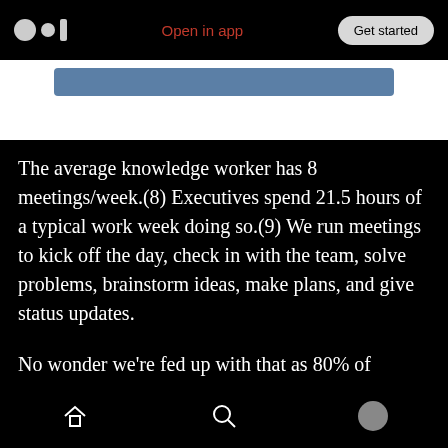Open in app | Get started
[Figure (screenshot): Medium app top navigation bar with logo, 'Open in app' link, and 'Get started' button]
[Figure (other): Blue banner/button area on white background]
The average knowledge worker has 8 meetings/week.(8) Executives spend 21.5 hours of a typical work week doing so.(9) We run meetings to kick off the day, check in with the team, solve problems, brainstorm ideas, make plans, and give status updates.
No wonder we're fed up with that as 80% of remote workers agree one day/week with no meetings would be great.(10) And that seems a
Home | Search | Profile